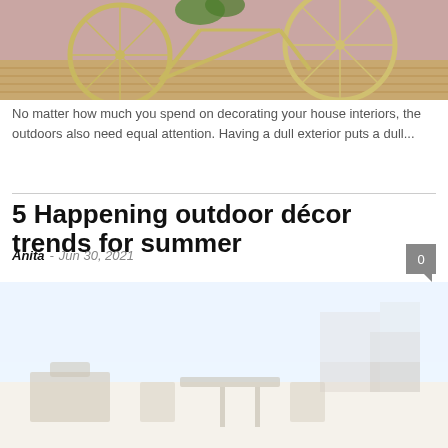[Figure (photo): A yellow bicycle leaning against a pink brick wall on a wooden deck with plants]
No matter how much you spend on decorating your house interiors, the outdoors also need equal attention. Having a dull exterior puts a dull...
5 Happening outdoor décor trends for summer
Anita · Jun 30, 2021
[Figure (photo): Outdoor patio area with furniture and light sky background, faded/washed out appearance]